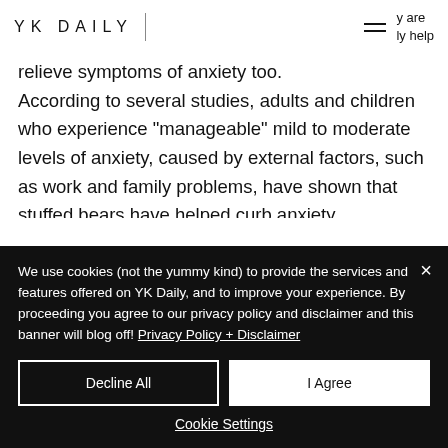YK DAILY
relieve symptoms of anxiety too. According to several studies, adults and children who experience "manageable" mild to moderate levels of anxiety, caused by external factors, such as work and family problems, have shown that stuffed bears have helped curb anxiety symptoms, bringing the brain back to a calm and
We use cookies (not the yummy kind) to provide the services and features offered on YK Daily, and to improve your experience. By proceeding you agree to our privacy policy and disclaimer and this banner will blog off! Privacy Policy + Disclaimer
Decline All
I Agree
Cookie Settings